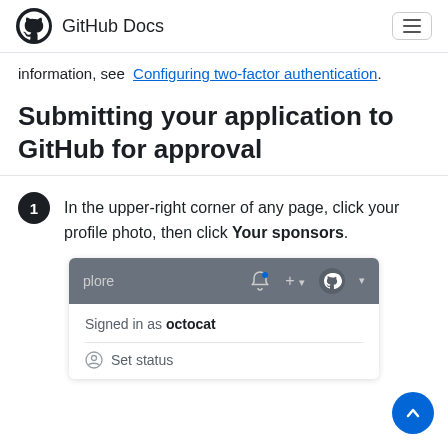GitHub Docs
information, see Configuring two-factor authentication.
Submitting your application to GitHub for approval
In the upper-right corner of any page, click your profile photo, then click Your sponsors.
[Figure (screenshot): GitHub navigation dropdown showing 'Signed in as octocat' and 'Set status' option]